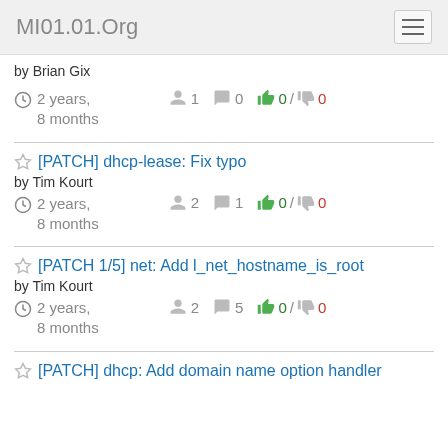MI01.01.Org
by Brian Gix
2 years, 8 months   1   0   0 / 0
[PATCH] dhcp-lease: Fix typo by Tim Kourt
2 years, 8 months   2   1   0 / 0
[PATCH 1/5] net: Add l_net_hostname_is_root by Tim Kourt
2 years, 8 months   2   5   0 / 0
[PATCH] dhcp: Add domain name option handler